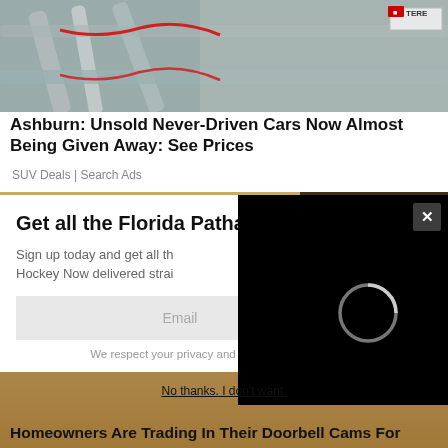[Figure (photo): Photo of a metal fence or gate with pipes and wires, with a TERE badge visible in the top right corner.]
Ashburn: Unsold Never-Driven Cars Now Almost Being Given Away: See Prices
SUV Deals | Search Ads
[Figure (photo): Background image with sandy/earthy texture and a dark rounded shape on the right]
Get all the Florida Pa that's fit to print.
Sign up today and get all th Hockey Now delivered strai
Email
SIGN UP!
We respect your privacy and take protecting it seriously
[Figure (screenshot): Black video player overlay with a loading spinner and X close button]
No thanks. I don't want.
Homeowners Are Trading In Their Doorbell Cams For